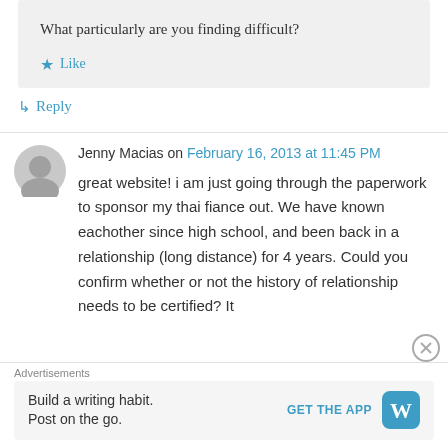What particularly are you finding difficult?
Like
Reply
Jenny Macias on February 16, 2013 at 11:45 PM
great website! i am just going through the paperwork to sponsor my thai fiance out. We have known eachother since high school, and been back in a relationship (long distance) for 4 years. Could you confirm whether or not the history of relationship needs to be certified? It
Advertisements
Build a writing habit. Post on the go.
GET THE APP